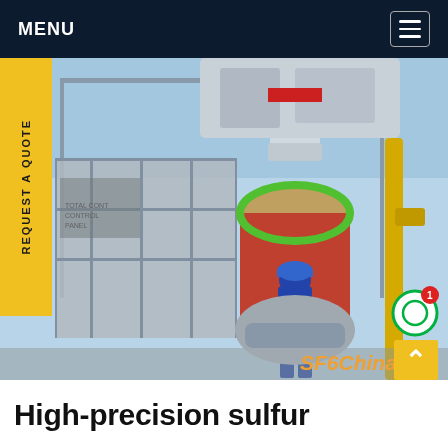MENU
[Figure (photo): Industrial equipment at an outdoor electrical substation or gas processing facility. A worker in blue coveralls and blue hard hat stands in front of large cylindrical gray metal tanks, pipes, and structural steel platforms. Large transformer or reactor equipment visible with red and green markings. Yellow gas pipes visible on the right. SF6China watermark in bottom right corner.]
REQUEST A QUOTE
High-precision sulfur